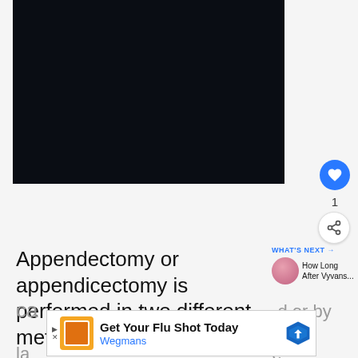[Figure (photo): Dark/black image area, likely a medical or video image placeholder]
Appendectomy or appendicectomy is performed in two different methods. It
[Figure (other): What's Next panel with circular thumbnail and title 'How Long After Vyvans...']
ca d or by la e
[Figure (other): Advertisement banner: Get Your Flu Shot Today - Wegmans]